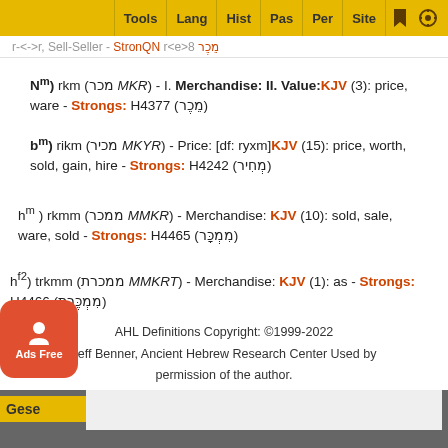Tools | Lang | Hist | Pas | Per | Site
N^m) rkm (מכר MKR) - I. Merchandise: II. Value: KJV (3): price, ware - Strongs: H4377 (מֵכֶר)
b^m) rikm (מכיר MKYR) - Price: [df: ryxm] KJV (15): price, worth, sold, gain, hire - Strongs: H4242 (מְחִיר)
h^m ) rkmm (ממכר MMKR) - Merchandise: KJV (10): sold, sale, ware, sold - Strongs: H4465 (מִמְכָּר)
h^f2) trkmm (ממכרת MMKRT) - Merchandise: KJV (1): as - Strongs: H4466 (מִמְכֶּרֶת)
AHL Definitions Copyright: ©1999-2022 Jeff Benner, Ancient Hebrew Research Center Used by permission of the author.